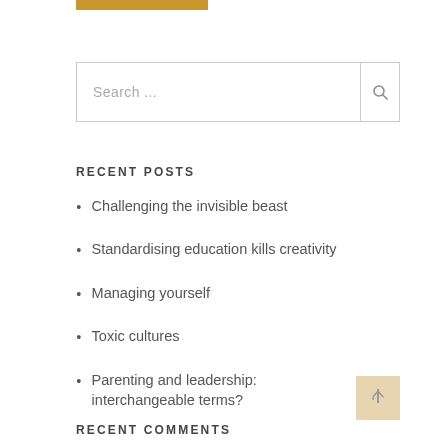[Figure (other): Orange/gold horizontal bar at top]
Search ...
RECENT POSTS
Challenging the invisible beast
Standardising education kills creativity
Managing yourself
Toxic cultures
Parenting and leadership: interchangeable terms?
RECENT COMMENTS